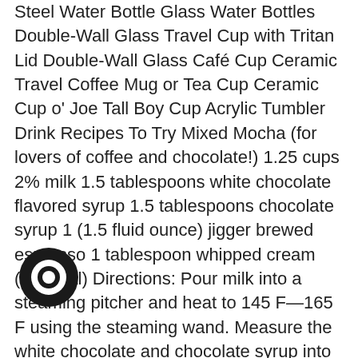Steel Water Bottle Glass Water Bottles Double-Wall Glass Travel Cup with Tritan Lid Double-Wall Glass Café Cup Ceramic Travel Coffee Mug or Tea Cup Ceramic Cup o' Joe Tall Boy Cup Acrylic Tumbler Drink Recipes To Try Mixed Mocha (for lovers of coffee and chocolate!) 1.25 cups 2% milk 1.5 tablespoons white chocolate flavored syrup 1.5 tablespoons chocolate syrup 1 (1.5 fluid ounce) jigger brewed espresso 1 tablespoon whipped cream (optional) Directions: Pour milk into a steaming pitcher and heat to 145 F—165 F using the steaming wand. Measure the white chocolate and chocolate syrup into a large coffee mug. Brew espresso, then add to mug. Pour the steamed milk into the mug, using a spoon to hold back the foam. Top with whipped cream. At-Home Chai (can be served warm or over ice!) 2 cups water 4 tea bags 1/4 cup honey 1/2 teaspoon vanilla 1 cinnamon stick 5 whole cloves 1/4 teaspoon ground cardamom 1/4 teaspoon ground ginger 1 pinch ground nutmeg 2 cups milk Directions: In a
[Figure (logo): Black circular logo with a ring/circle shape in the center, positioned at bottom-left]